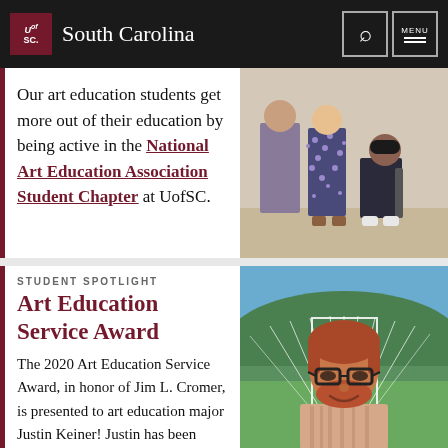UofSC South Carolina
Our art education students get more out of their education by being active in the National Art Education Association Student Chapter at UofSC.
[Figure (photo): Students in an art gallery or studio setting]
STUDENT SPOTLIGHT
Art Education Service Award
The 2020 Art Education Service Award, in honor of Jim L. Cromer, is presented to art education major Justin Keiner! Justin has been
[Figure (photo): Portrait photo of Justin Keiner, a young man with red hair and glasses, smiling, with an outdoor scenic background]